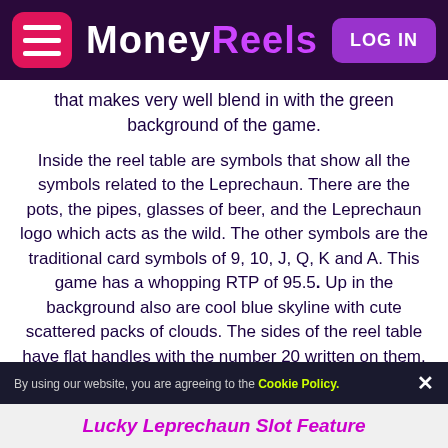MoneyReels — LOG IN
that makes very well blend in with the green background of the game.
Inside the reel table are symbols that show all the symbols related to the Leprechaun. There are the pots, the pipes, glasses of beer, and the Leprechaun logo which acts as the wild. The other symbols are the traditional card symbols of 9, 10, J, Q, K and A. This game has a whopping RTP of 95.5%. Up in the background also are cool blue skyline with cute scattered packs of clouds. The sides of the reel table have flat handles with the number 20 written on them. That number represents the number of paylines of the game. The Lucky Leprechaun slot game is a 5 reel with 20 paylines.
By using our website, you are agreeing to the Cookie Policy.
Lucky Leprechaun Slot Feature